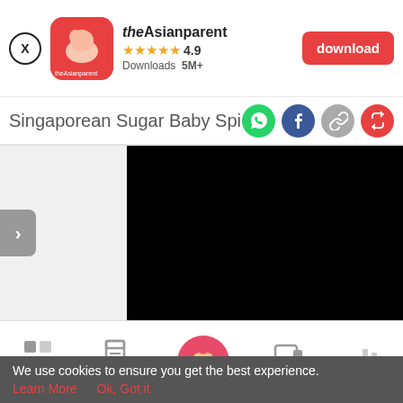[Figure (screenshot): App banner showing theAsianparent app with logo, 4.9 star rating, 5M+ downloads, and a red download button]
Singaporean Sugar Baby Spills The B
[Figure (screenshot): Content area with a navigation arrow on the left and a black image block on the right, on grey background]
[Figure (screenshot): Bottom navigation bar with icons: Tools, Articles, Home (active, pink circle with baby feet), Feed, Poll]
We use cookies to ensure you get the best experience.
Learn More   Ok, Got it